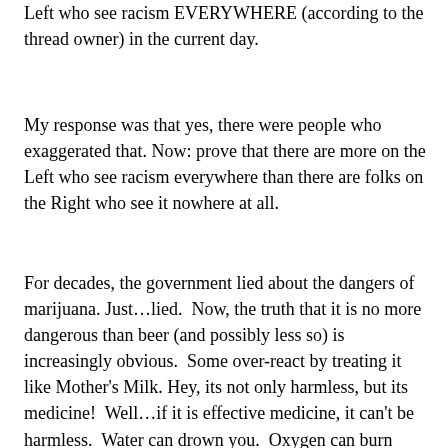Left who see racism EVERYWHERE (according to the thread owner) in the current day.
My response was that yes, there were people who exaggerated that. Now: prove that there are more on the Left who see racism everywhere than there are folks on the Right who see it nowhere at all.
For decades, the government lied about the dangers of marijuana. Just…lied.  Now, the truth that it is no more dangerous than beer (and possibly less so) is increasingly obvious.  Some over-react by treating it like Mother's Milk. Hey, its not only harmless, but its medicine!  Well…if it is effective medicine, it can't be harmless.  Water can drown you.  Oxygen can burn your lungs out. Don't try to tell me that something powerful is also harmless.  Hell, people can go crazy from meditation.